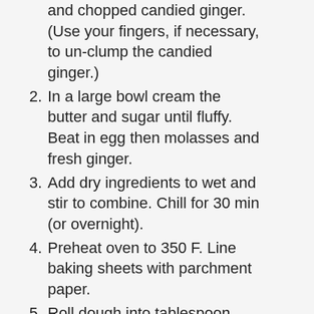(Use your fingers, if necessary, to un-clump the candied ginger.)
2. In a large bowl cream the butter and sugar until fluffy. Beat in egg then molasses and fresh ginger.
3. Add dry ingredients to wet and stir to combine. Chill for 30 min (or overnight).
4. Preheat oven to 350 F. Line baking sheets with parchment paper.
5. Roll dough into tablespoon sized balls and roll each ball in sugar.
6. Place 2” apart on the baking